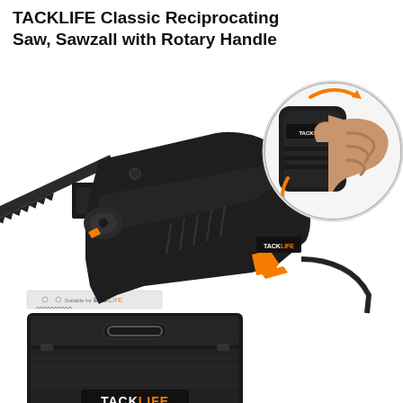TACKLIFE Classic Reciprocating Saw, Sawzall with Rotary Handle
[Figure (photo): Product photo of a TACKLIFE Classic Reciprocating Saw (Sawzall) with rotary handle. The main image shows the black and orange power saw with a blade attached, a tool-free blade change mechanism, and a carrying case below with the TACKLIFE logo. An inset circular close-up in the upper right shows a hand rotating the handle with orange rotation arrows indicating the rotary handle feature. A saw blade accessory and carrying case are visible at the bottom.]